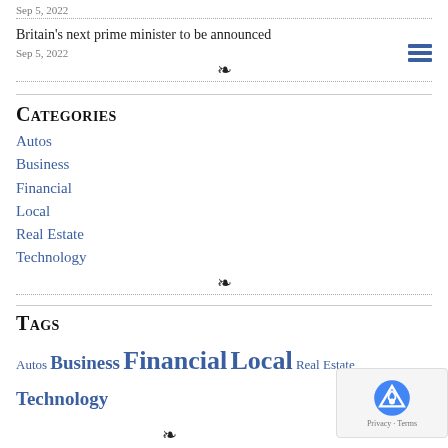Sep 5, 2022
Britain's next prime minister to be announced
Sep 5, 2022
Categories
Autos
Business
Financial
Local
Real Estate
Technology
Tags
Autos Business Financial Local Real Estate Technology